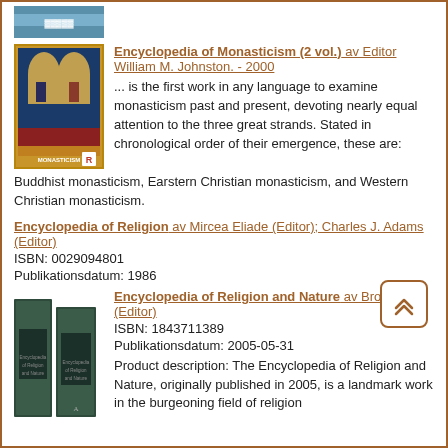[Figure (photo): Partial top of a book cover, blue/teal color]
[Figure (photo): Cover of Encyclopedia of Monasticism showing medieval illuminated figures]
Encyclopedia of Monasticism (2 vol.) av Editor William M. Johnston. - 2000
... is the first work in any language to examine monasticism past and present, devoting nearly equal attention to the three great strands. Stated in chronological order of their emergence, these are: Buddhist monasticism, Earstern Christian monasticism, and Western Christian monasticism.
Encyclopedia of Religion av Mircea Eliade (Editor); Charles J. Adams (Editor)
ISBN: 0029094801
Publikationsdatum: 1986
[Figure (photo): Two dark green hardcover volumes of Encyclopedia of Religion and Nature]
Encyclopedia of Religion and Nature av Bron Taylor (Editor)
ISBN: 1843711389
Publikationsdatum: 2005-05-31
Product description: The Encyclopedia of Religion and Nature, originally published in 2005, is a landmark work in the burgeoning field of religion